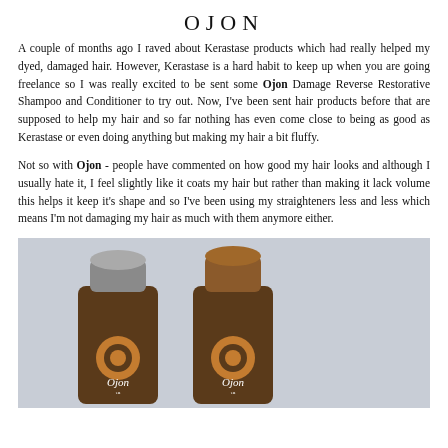OJON
A couple of months ago I raved about Kerastase products which had really helped my dyed, damaged hair. However, Kerastase is a hard habit to keep up when you are going freelance so I was really excited to be sent some Ojon Damage Reverse Restorative Shampoo and Conditioner to try out. Now, I've been sent hair products before that are supposed to help my hair and so far nothing has even come close to being as good as Kerastase or even doing anything but making my hair a bit fluffy.
Not so with Ojon - people have commented on how good my hair looks and although I usually hate it, I feel slightly like it coats my hair but rather than making it lack volume this helps it keep it's shape and so I've been using my straighteners less and less which means I'm not damaging my hair as much with them anymore either.
[Figure (photo): Two brown Ojon hair product bottles (shampoo and conditioner) side by side with white and brown caps on a light blue/grey background, each bearing the Ojon logo with an orange circle.]